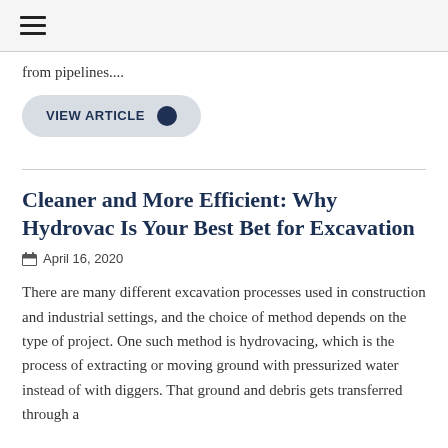≡
from pipelines....
VIEW ARTICLE ❯
Cleaner and More Efficient: Why Hydrovac Is Your Best Bet for Excavation
April 16, 2020
There are many different excavation processes used in construction and industrial settings, and the choice of method depends on the type of project. One such method is hydrovacing, which is the process of extracting or moving ground with pressurized water instead of with diggers. That ground and debris gets transferred through a